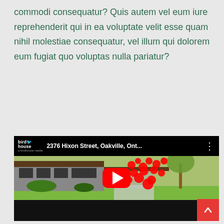commodi consequatur? Quis autem vel eum iure reprehenderit qui in ea voluptate velit esse quam nihil molestiae consequatur, vel illum qui dolorem eum fugiat quo voluptas nulla pariatur?
[Figure (screenshot): YouTube video thumbnail showing a modern house at 2376 Hixon Street, Oakville, Ont... with birdhouse logo, red play button overlay, and red dot annotations on the image]